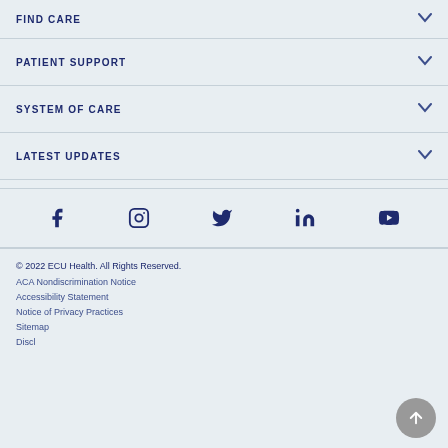FIND CARE
PATIENT SUPPORT
SYSTEM OF CARE
LATEST UPDATES
[Figure (other): Social media icons row: Facebook, Instagram, Twitter, LinkedIn, YouTube]
© 2022 ECU Health. All Rights Reserved.
ACA Nondiscrimination Notice
Accessibility Statement
Notice of Privacy Practices
Sitemap
Disclaimer